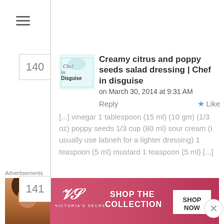[Figure (screenshot): Hamburger menu icon (three horizontal lines)]
Creamy citrus and poppy seeds salad dressing | Chef in disguise on March 30, 2014 at 9:31 AM
Reply
Like
[...] vinegar 1 tablespoon (15 ml) (10 gm) (1/3 oz) poppy seeds 1/3 cup (80 ml) sour cream (I usually use labneh for a lighter dressing) 1 teaspoon (5 ml) mustard 1 teaspoon (5 ml) [...]
Persian Springtime Stew | Optimal Edibles on May 30, 2014 at 2:32 PM  Reply  Like
Advertisements
[Figure (photo): Victoria's Secret advertisement banner with woman's photo, VS logo, SHOP THE COLLECTION text, and SHOP NOW button]